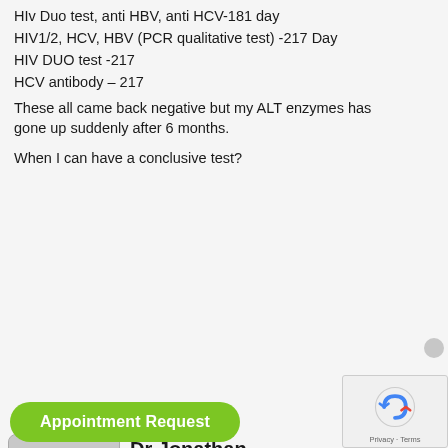HIv Duo test, anti HBV, anti HCV-181 day
HIV1/2, HCV, HBV (PCR qualitative test) -217 Day
HIV DUO test -217
HCV antibody – 217
These all came back negative but my ALT enzymes has gone up suddenly after 6 months.
When I can have a conclusive test?
[Figure (illustration): Doctor avatar placeholder image – grey silhouette of a person on light grey square background with rounded corners border]
Dr Jonathan
JANUARY 28, 2018
Your tests are conclusive already.
[Figure (screenshot): reCAPTCHA widget with blue and red logo, Privacy and Terms links]
Appointment Request